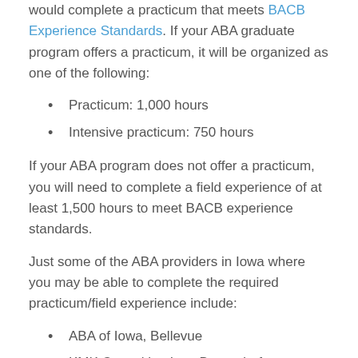would complete a practicum that meets BACB Experience Standards. If your ABA graduate program offers a practicum, it will be organized as one of the following:
Practicum: 1,000 hours
Intensive practicum: 750 hours
If your ABA program does not offer a practicum, you will need to complete a field experience of at least 1,500 hours to meet BACB experience standards.
Just some of the ABA providers in Iowa where you may be able to complete the required practicum/field experience include:
ABA of Iowa, Bellevue
KMK Consulting Inc., Bettendorf